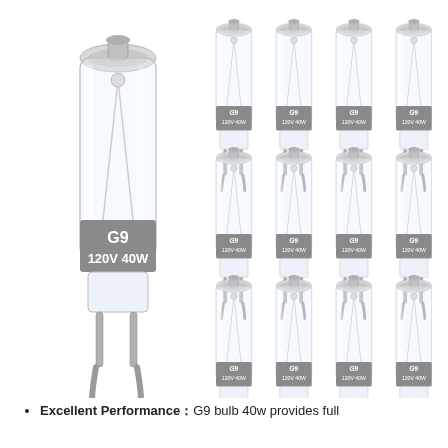[Figure (photo): Product photo showing one large G9 120V 40W halogen bulb on the left and 12 smaller identical G9 120V 40W halogen bulbs arranged in a 4x3 grid on the right, all on a white background.]
Excellent Performance：G9 bulb 40w provides full